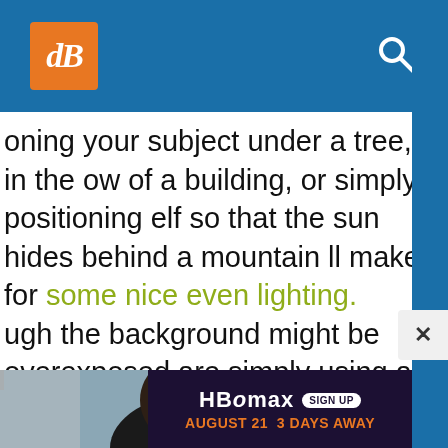dB [logo] [search icon]
oning your subject under a tree, in the ow of a building, or simply positioning elf so that the sun hides behind a mountain ll make for some nice even lighting. ugh the background might be overexposed are simply using a small patch of shadow, change your perspective to make the most e situation.
[Figure (photo): Portrait photo of a person with dark hair, indoor/outdoor blurred background]
[Figure (screenshot): HBO Max advertisement banner: HBO Max SIGN UP, AUGUST 21 3 DAYS AWAY, dark purple background with orange text]